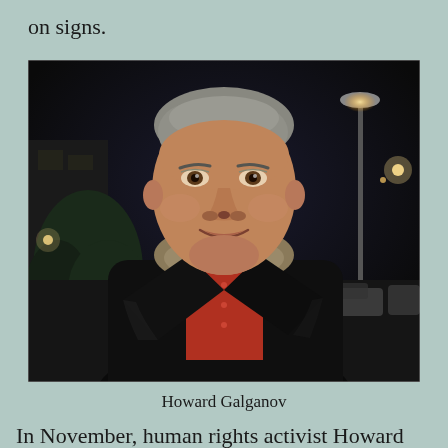on signs.
[Figure (photo): A middle-aged man with gray hair, wearing a black leather jacket with shearling collar over a red shirt, standing outdoors at night in a parking lot setting.]
Howard Galganov
In November, human rights activist Howard Galganov had asked Council to take note of